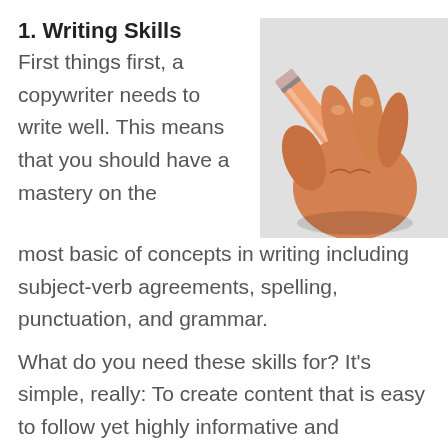1. Writing Skills
[Figure (illustration): A cartoon illustration of a hand holding a pencil and writing, shown against a light grey background.]
First things first, a copywriter needs to write well. This means that you should have a mastery on the most basic of concepts in writing including subject-verb agreements, spelling, punctuation, and grammar.
What do you need these skills for? It’s simple, really: To create content that is easy to follow yet highly informative and engaging. Most people equate good writing skills with